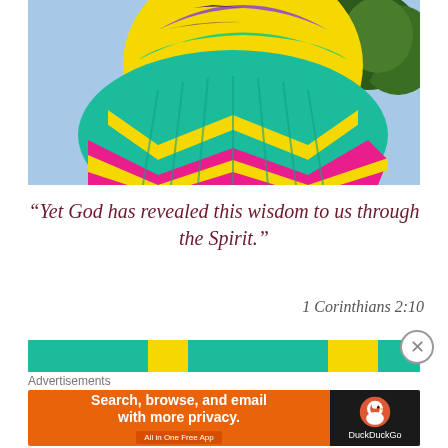[Figure (photo): Two colorful hot air balloons against a blue sky with green trees in background. The balloon in front is teal/yellow/pink chevron pattern, and the one behind is yellow/green/purple/pink checkered pattern.]
“Yet God has revealed this wisdom to us through the Spirit.”
1 Corinthians 2:10
[Figure (photo): Partial strip of another hot air balloon photo, teal colored.]
Advertisements
[Figure (other): DuckDuckGo advertisement banner: 'Search, browse, and email with more privacy. All in One Free App' with DuckDuckGo logo on dark right panel.]